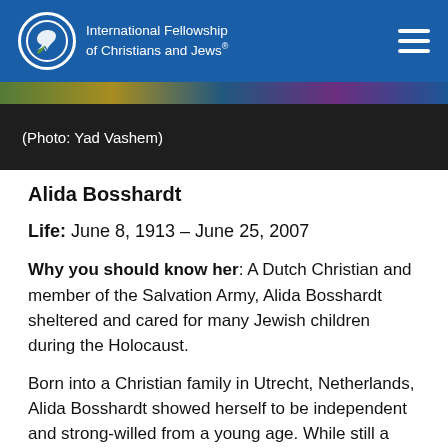International Fellowship of Christians and Jews
(Photo: Yad Vashem)
Alida Bosshardt
Life: June 8, 1913 – June 25, 2007
Why you should know her: A Dutch Christian and member of the Salvation Army, Alida Bosshardt sheltered and cared for many Jewish children during the Holocaust.
Born into a Christian family in Utrecht, Netherlands, Alida Bosshardt showed herself to be independent and strong-willed from a young age. While still a teenager, she joined the Salvation Army.
Alida began caring for children from broken homes in